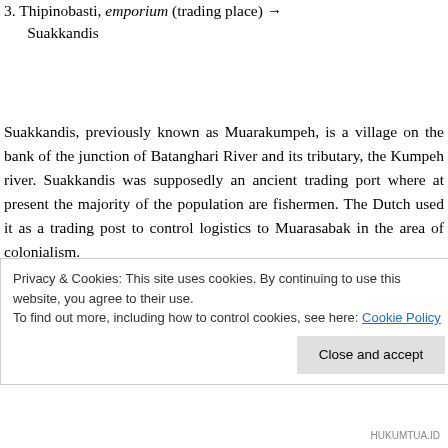3. Thipinobasti, emporium (trading place) → Suakkandis
Suakkandis, previously known as Muarakumpeh, is a village on the bank of the junction of Batanghari River and its tributary, the Kumpeh river. Suakkandis was supposedly an ancient trading port where at present the majority of the population are fishermen. The Dutch used it as a trading post to control logistics to Muarasabak in the area of colonialism.
Privacy & Cookies: This site uses cookies. By continuing to use this website, you agree to their use.
To find out more, including how to control cookies, see here: Cookie Policy
HUKUMTUA.ID